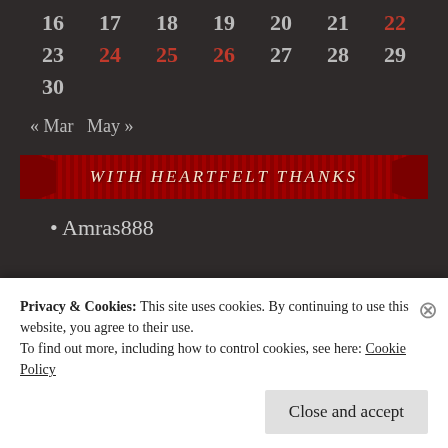| 16 | 17 | 18 | 19 | 20 | 21 | 22 |
| 23 | 24 | 25 | 26 | 27 | 28 | 29 |
| 30 |  |  |  |  |  |  |
« Mar   May »
[Figure (illustration): Red striped ribbon banner with italic script text 'WITH HEARTFELT THANKS']
Amras888
Privacy & Cookies: This site uses cookies. By continuing to use this website, you agree to their use.
To find out more, including how to control cookies, see here: Cookie Policy
Close and accept